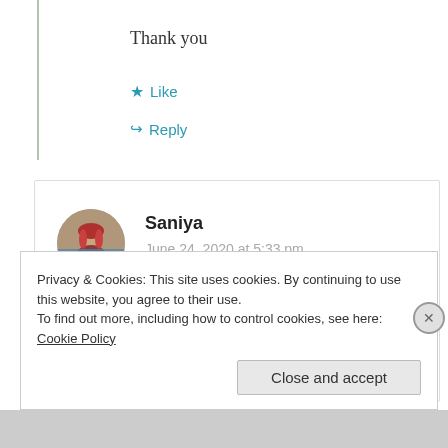Thank you
★ Like
↪ Reply
Saniya
June 24, 2020 at 5:33 pm
Beautiful set of happiness 🌸
Privacy & Cookies: This site uses cookies. By continuing to use this website, you agree to their use.
To find out more, including how to control cookies, see here: Cookie Policy
Close and accept